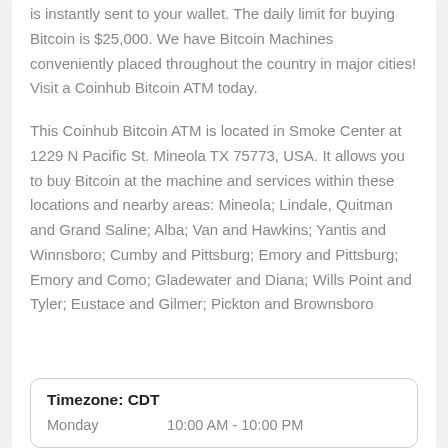is instantly sent to your wallet. The daily limit for buying Bitcoin is $25,000. We have Bitcoin Machines conveniently placed throughout the country in major cities! Visit a Coinhub Bitcoin ATM today.
This Coinhub Bitcoin ATM is located in Smoke Center at 1229 N Pacific St. Mineola TX 75773, USA. It allows you to buy Bitcoin at the machine and services within these locations and nearby areas: Mineola; Lindale, Quitman and Grand Saline; Alba; Van and Hawkins; Yantis and Winnsboro; Cumby and Pittsburg; Emory and Pittsburg; Emory and Como; Gladewater and Diana; Wills Point and Tyler; Eustace and Gilmer; Pickton and Brownsboro
| Timezone: CDT |
| --- |
| Monday | 10:00 AM - 10:00 PM |